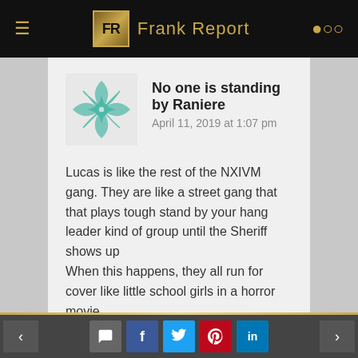FR Frank Report
No one is standing by Raniere
April 11, 2019 at 1:07 pm
Lucas is like the rest of the NXIVM gang. They are like a street gang that that plays tough stand by your hang leader kind of group until the Sheriff shows up
When this happens, they all run for cover like little school girls in a horror movie.
To date, no one has truly stood by Keith Raniere. None of his followers have stood up to defend him in the press since his arrest, other
< [comment] [f] [tweet] [pinterest] [in] >